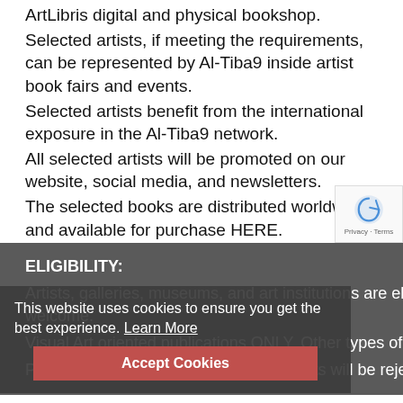ArtLibris digital and physical bookshop. Selected artists, if meeting the requirements, can be represented by Al-Tiba9 inside artist book fairs and events. Selected artists benefit from the international exposure in the Al-Tiba9 network. All selected artists will be promoted on our website, social media, and newsletters. The selected books are distributed worldwide and available for purchase HERE.
ELIGIBILITY:
Artists, galleries, museums, and art institutions are eligible to apply their publications. All techniques are welcome.
Visual Art oriented publications ONLY. Other types of publications will not be selected.
Published books ONLY. On-going projects will be rejected.
This website uses cookies to ensure you get the best experience. Learn More
Accept Cookies